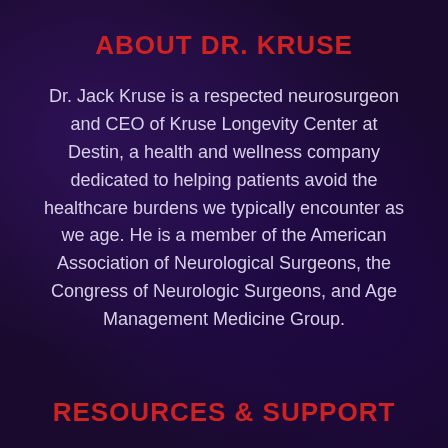ABOUT DR. KRUSE
Dr. Jack Kruse is a respected neurosurgeon and CEO of Kruse Longevity Center at Destin, a health and wellness company dedicated to helping patients avoid the healthcare burdens we typically encounter as we age. He is a member of the American Association of Neurological Surgeons, the Congress of Neurologic Surgeons, and Age Management Medicine Group.
RESOURCES & SUPPORT